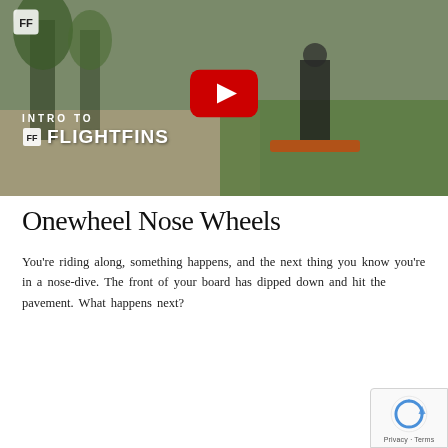[Figure (screenshot): YouTube video thumbnail showing a person riding a Onewheel on a path with trees and grass in the background. The thumbnail displays 'INTRO TO' and 'FLIGHTFINS' branding with the FlightFins logo. A large YouTube red play button is centered on the image.]
Onewheel Nose Wheels
You're riding along, something happens, and the next thing you know you're in a nose-dive. The front of your board has dipped down and hit the pavement. What happens next?